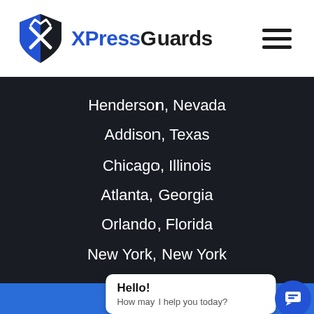[Figure (logo): XPressGuards shield logo with blue and black colors, and text 'XPressGuards' where 'XPress' is blue and 'Guards' is dark]
Henderson, Nevada
Addison, Texas
Chicago, Illinois
Atlanta, Georgia
Orlando, Florida
New York, New York
Hello! How may I help you today?